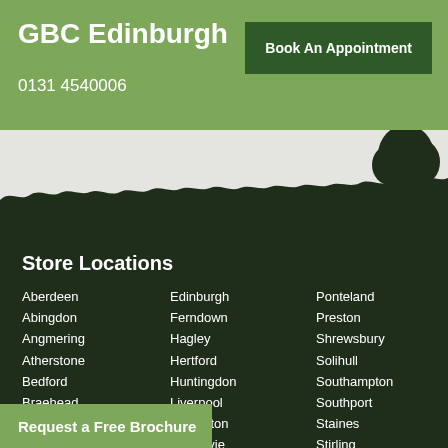GBC Edinburgh
0131 4540006
Book An Appointment
[Figure (illustration): Silhouette landscape scene with grass, foliage, and a tree on the right against a light grey sky background]
Store Locations
Aberdeen
Abingdon
Angmering
Atherstone
Bedford
Braehead
Bridgemere
Bristol
Chesterfield
Edinburgh
Ferndown
Hagley
Hertford
Huntingdon
Liverpool
Livingston
Milngavie
Milton Keynes
Ponteland
Preston
Shrewsbury
Solihull
Southampton
Southport
Staines
Stirling
Warrington
Woodford Park
Wychbold
Request a Free Brochure